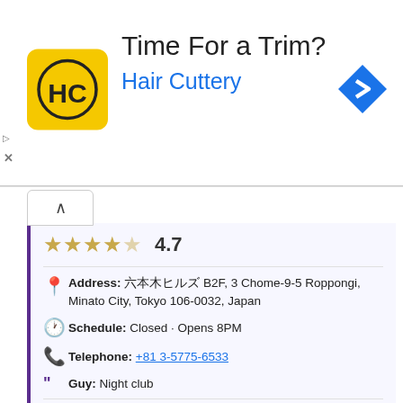[Figure (screenshot): Hair Cuttery advertisement banner with logo (yellow square with HC letters), headline 'Time For a Trim?', subheading 'Hair Cuttery', and a blue navigation/direction icon on the right. Small play and X ad labels on the left edge.]
★★★★☆  4.7
Address: 六本木ヒルズ B2F, 3 Chome-9-5 Roppongi, Minato City, Tokyo 106-0032, Japan
Schedule: Closed · Opens 8PM
Telephone: +81 3-5775-6533
Guy: Night club
There are no offers available.
Near Tantra Tokyo:
a 0 meters away romantic restaurants with music: 395 Spice Tokyo
a 12 meters away hostesses: Club Chick